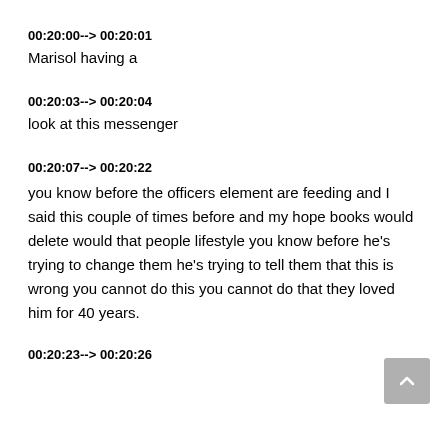00:20:00--> 00:20:01
Marisol having a
00:20:03--> 00:20:04
look at this messenger
00:20:07--> 00:20:22
you know before the officers element are feeding and I said this couple of times before and my hope books would delete would that people lifestyle you know before he's trying to change them he's trying to tell them that this is wrong you cannot do this you cannot do that they loved him for 40 years.
00:20:23--> 00:20:26